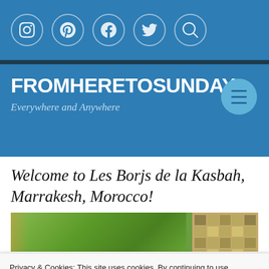Social media icon bar: Instagram, Pinterest, Facebook, Twitter, Search
FROMHERETOSUNDAY
Everywhere and Anywhere
Welcome to Les Borjs de la Kasbah, Marrakesh, Morocco!
[Figure (photo): Outdoor garden area with lush green trees and a latticed window visible on the right]
Privacy & Cookies: This site uses cookies. By continuing to use this website, you agree to their use.
To find out more, including how to control cookies, see here: Cookie Policy
Close and accept